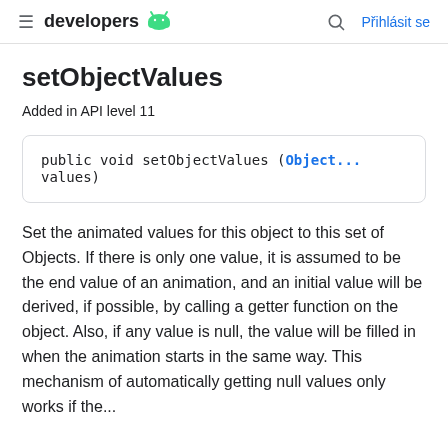≡ developers 🤖  🔍  Přihlásit se
setObjectValues
Added in API level 11
public void setObjectValues (Object... values)
Set the animated values for this object to this set of Objects. If there is only one value, it is assumed to be the end value of an animation, and an initial value will be derived, if possible, by calling a getter function on the object. Also, if any value is null, the value will be filled in when the animation starts in the same way. This mechanism of automatically getting null values only works if the...